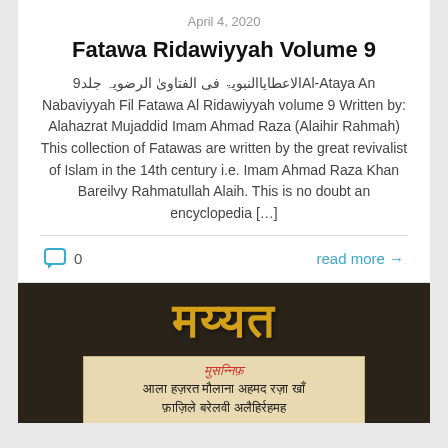April 4, 2020
Fatawa Ridawiyyah Volume 9
الاعطایاالنبویۃ فی الفتاویٰ الرضویہ جلد9 Al-Ataya An Nabaviyyah Fil Fatawa Al Ridawiyyah volume 9 Written by: Alahazrat Mujaddid Imam Ahmad Raza (Alaihir Rahmah) This collection of Fatawas are written by the great revivalist of Islam in the 14th century i.e. Imam Ahmad Raza Khan Bareilvy Rahmatullah Alaih. This is no doubt an encyclopedia […]
0   read more →
[Figure (photo): Book cover image with Hindi/Devanagari text 'मय्यत' in gold letters on dark brown background, with a subtitle box showing 'मुसन्निफ़' in red and 'आला हज़रत मौलाना अहमद रज़ा खाँ फ़ाज़िले बरेलवी अलैहिर्रहमह' in dark text on a cream background.]